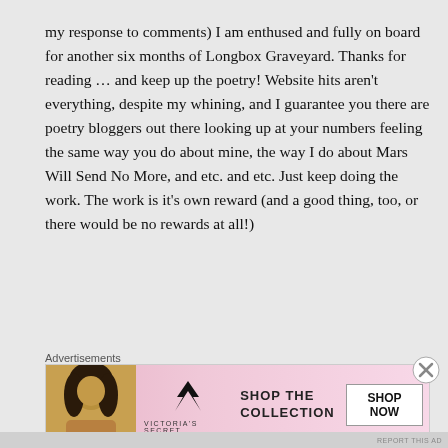my response to comments) I am enthused and fully on board for another six months of Longbox Graveyard. Thanks for reading … and keep up the poetry! Website hits aren't everything, despite my whining, and I guarantee you there are poetry bloggers out there looking up at your numbers feeling the same way you do about mine, the way I do about Mars Will Send No More, and etc. and etc. Just keep doing the work. The work is it's own reward (and a good thing, too, or there would be no rewards at all!)
Advertisements
[Figure (photo): Victoria's Secret advertisement banner with a model on the left, the VS logo in the center, text 'SHOP THE COLLECTION' and a 'SHOP NOW' button on the right, pink gradient background.]